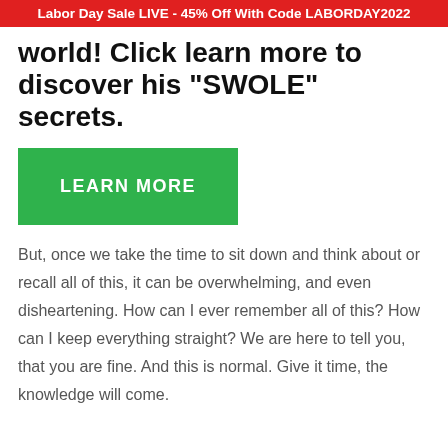Labor Day Sale LIVE - 45% Off With Code LABORDAY2022
world! Click learn more to discover his "SWOLE" secrets.
[Figure (other): Green button labeled LEARN MORE]
But, once we take the time to sit down and think about or recall all of this, it can be overwhelming, and even disheartening. How can I ever remember all of this? How can I keep everything straight? We are here to tell you, that you are fine. And this is normal. Give it time, the knowledge will come.